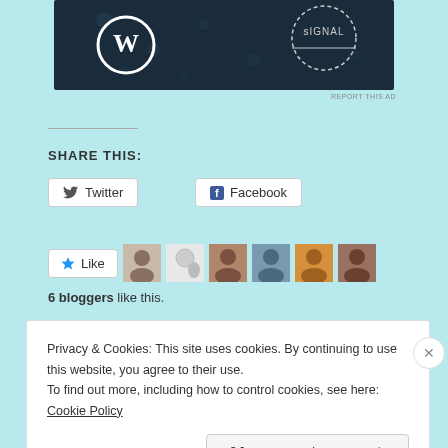[Figure (screenshot): Advertisement banner with WordPress logo on dark navy background and Signal badge in corner]
REPORT THIS AD
SHARE THIS:
Twitter button
Facebook button
Like button with 6 blogger avatars
6 bloggers like this.
RELATED
Shards of Honour by Lois McMaster Bujold
Exile's Honour by Mercedes Lackey
Privacy & Cookies: This site uses cookies. By continuing to use this website, you agree to their use.
To find out more, including how to control cookies, see here: Cookie Policy
Close and accept